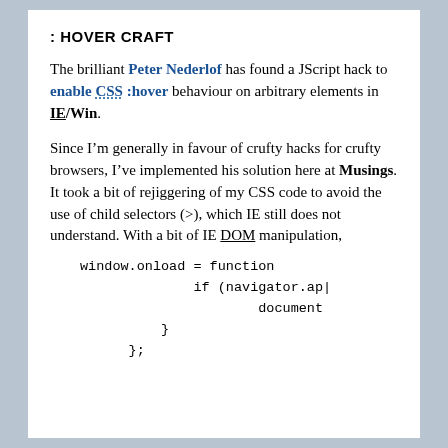: HOVER CRAFT
The brilliant Peter Nederlof has found a JScript hack to enable CSS :hover behaviour on arbitrary elements in IE/Win.
Since I’m generally in favour of crufty hacks for crufty browsers, I’ve implemented his solution here at Musings. It took a bit of rejiggering of my CSS code to avoid the use of child selectors (>), which IE still does not understand. With a bit of IE DOM manipulation,
window.onload = function
                if (navigator.ap|
                        document
            }
        };